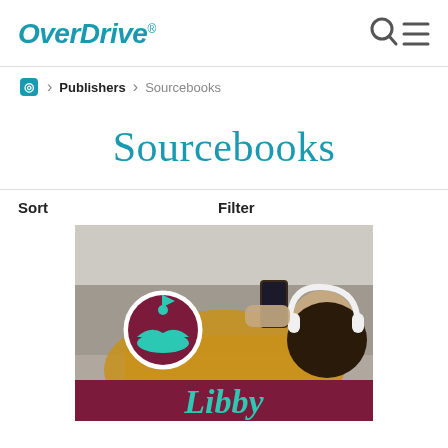OverDrive®
◎ > Publishers > Sourcebooks
Sourcebooks
Sort    Filter
[Figure (photo): Woman lying on a couch wearing headphones, holding a smartphone, with a Libby app logo overlaid. Bottom of image shows dark red banner with teal 'Libby' text.]